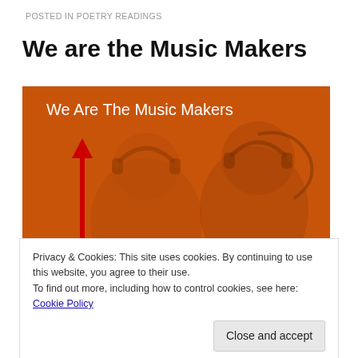POSTED IN POETRY READINGS
We are the Music Makers
[Figure (illustration): Orange background illustration with two people wearing headphones and vinyl records. Text 'We Are The Music Makers' overlaid in white at top. A red upward arrow on the left side. Black vinyl record on lower left, red vinyl record on lower right.]
Privacy & Cookies: This site uses cookies. By continuing to use this website, you agree to their use.
To find out more, including how to control cookies, see here: Cookie Policy
Close and accept